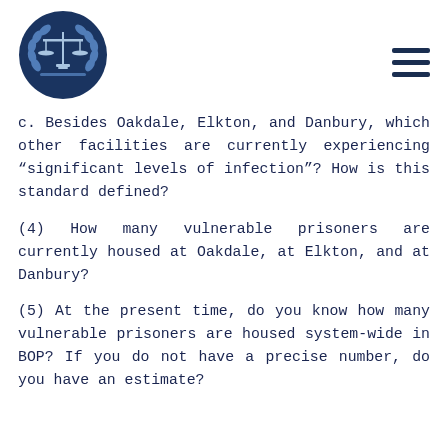[Figure (logo): Scales of justice logo in a dark blue circle with laurel wreath, circular emblem]
c. Besides Oakdale, Elkton, and Danbury, which other facilities are currently experiencing “significant levels of infection”? How is this standard defined?
(4) How many vulnerable prisoners are currently housed at Oakdale, at Elkton, and at Danbury?
(5) At the present time, do you know how many vulnerable prisoners are housed system-wide in BOP? If you do not have a precise number, do you have an estimate?